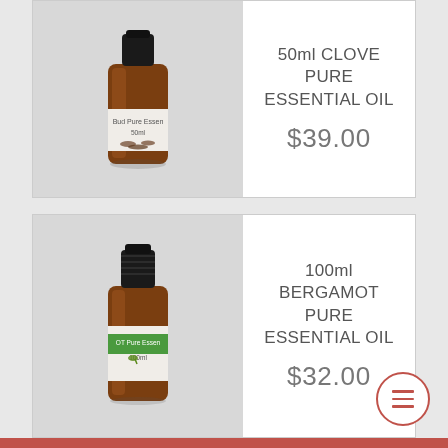[Figure (photo): Amber glass dropper bottle with black cap, white label reading 'Bud Pure Essen 50ml' with clove image, product photo for clove essential oil]
50ml CLOVE PURE ESSENTIAL OIL
$39.00
[Figure (photo): Amber glass dropper bottle with black cap, white label with green band reading 'BERGAMOT Pure Essen 100ml' with bergamot fruit image, product photo for bergamot essential oil]
100ml BERGAMOT PURE ESSENTIAL OIL
$32.00